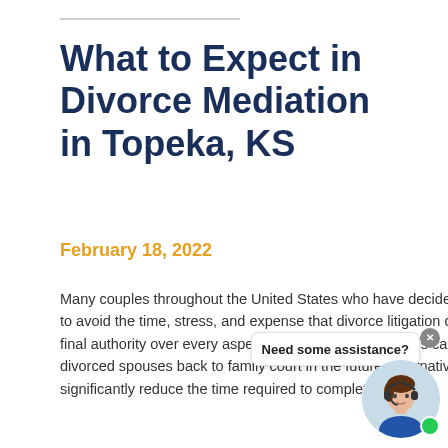What to Expect in Divorce Mediation in Topeka, KS
February 18, 2022
Many couples throughout the United States who have decided to end their marriages are choosing alternative dispute resolution to avoid the time, stress, and expense that divorce litigation demands. When a couple pursues divorce in court, the judge has final authority over every aspect of the divorce order. This can lead to impractical or untenable divorce orders that compel the divorced spouses back to family court in the future. Alternative dispute resolution, specifically divorce mediation, can only significantly reduce the time required to complete